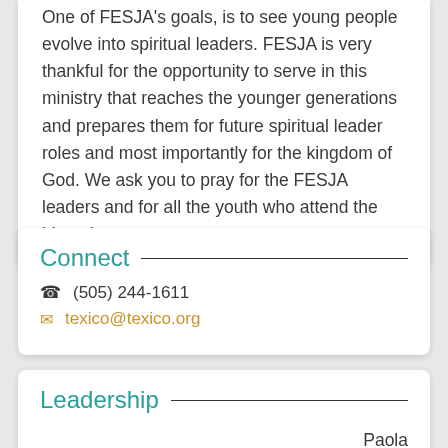One of FESJA's goals, is to see young people evolve into spiritual leaders. FESJA is very thankful for the opportunity to serve in this ministry that reaches the younger generations and prepares them for future spiritual leader roles and most importantly for the kingdom of God. We ask you to pray for the FESJA leaders and for all the youth who attend the biyearly retreats.
Connect
(505) 244-1611
texico@texico.org
Leadership
Paola